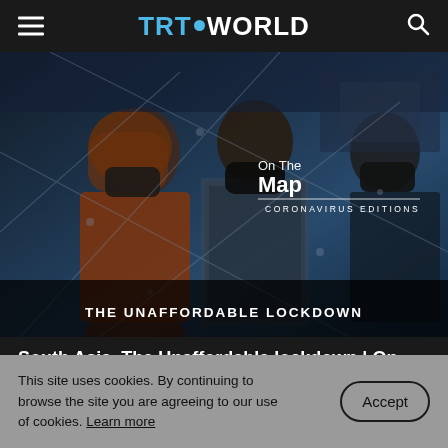TRT WORLD
[Figure (photo): People wearing face masks sitting on a train or bus during COVID-19 pandemic in South Asia. Overlay text reads 'On The Map Coronavirus Editions' and 'THE UNAFFORDABLE LOCKDOWN'.]
South Asia, The Unaffordable lockdown | On The Map Coronavirus Editions
This site uses cookies. By continuing to browse the site you are agreeing to our use of cookies. Learn more
Accept